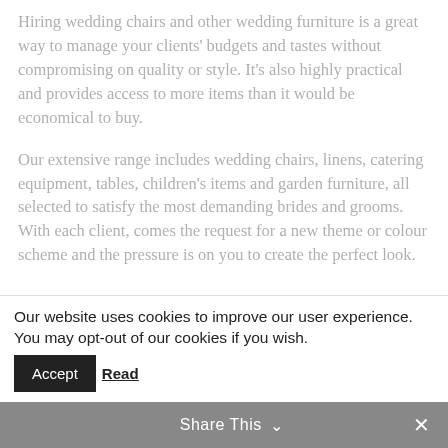Hiring wedding chairs and other wedding furniture is a great way to manage your clients' budgets and tastes without compromising on quality or style. It's also highly practical and provides access to more items than it would be economical to buy.
Our extensive range includes wedding chairs, linens, catering equipment, tables, children's items and garden furniture, all selected to satisfy the most demanding brides and grooms. With each client, comes the request for a new theme or colour scheme and the pressure is on you to create the perfect look.
Our website uses cookies to improve our user experience. You may opt-out of our cookies if you wish. Accept Read
Share This